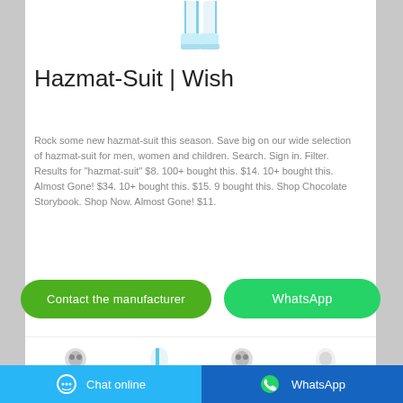[Figure (photo): Partial view of a hazmat suit lower body with blue accents on white background]
Hazmat-Suit | Wish
Rock some new hazmat-suit this season. Save big on our wide selection of hazmat-suit for men, women and children. Search. Sign in. Filter. Results for "hazmat-suit" $8. 100+ bought this. $14. 10+ bought this. Almost Gone! $34. 10+ bought this. $15. 9 bought this. Shop Chocolate Storybook. Shop Now. Almost Gone! $11.
[Figure (screenshot): Contact the manufacturer button (green rounded)]
[Figure (screenshot): WhatsApp button (green rounded)]
[Figure (photo): Four thumbnail images of hazmat suit product photos]
Chat online   WhatsApp